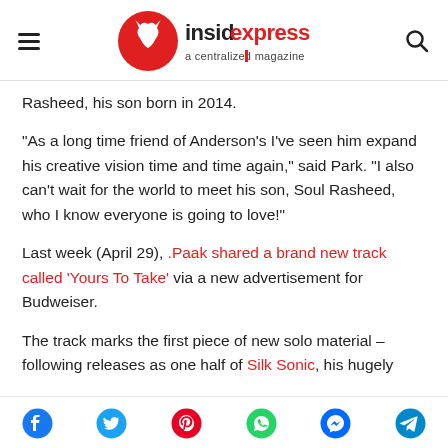insidexpress a centralized magazine
Rasheed, his son born in 2014.
"As a long time friend of Anderson's I've seen him expand his creative vision time and time again," said Park. "I also can't wait for the world to meet his son, Soul Rasheed, who I know everyone is going to love!"
Last week (April 29), .Paak shared a brand new track called 'Yours To Take' via a new advertisement for Budweiser.
The track marks the first piece of new solo material – following releases as one half of Silk Sonic, his hugely
Social share icons: Facebook, Twitter, Pinterest, WhatsApp, Messenger, Telegram